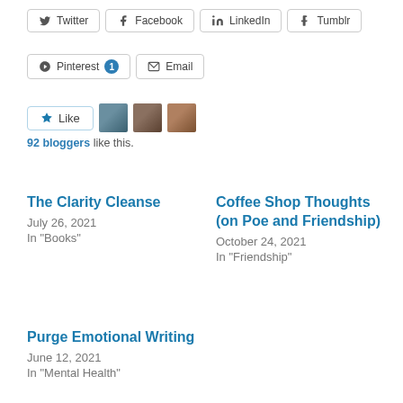Twitter
Facebook
LinkedIn
Tumblr
Pinterest 1
Email
[Figure (infographic): Like button with star icon and three blogger avatar images]
92 bloggers like this.
The Clarity Cleanse
July 26, 2021
In "Books"
Coffee Shop Thoughts (on Poe and Friendship)
October 24, 2021
In "Friendship"
Purge Emotional Writing
June 12, 2021
In "Mental Health"